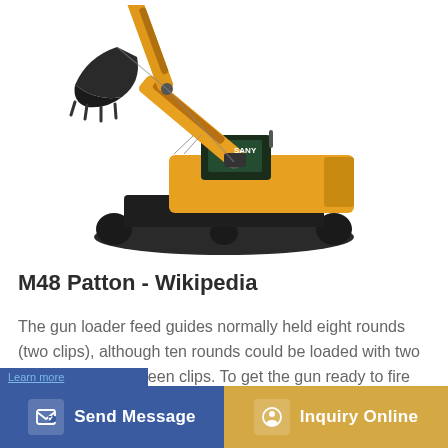[Figure (photo): Large yellow hydraulic excavator (crawler excavator) with black tracks, shown in profile against a white background. The boom and arm extend to the upper left with a large bucket attachment.]
M48 Patton - Wikipedia
The gun loader feed guides normally held eight rounds (two clips), although ten rounds could be loaded with two loose rounds between clips. To get the gun ready to fire the firs...
Send Message
Inquiry Online
Learn more